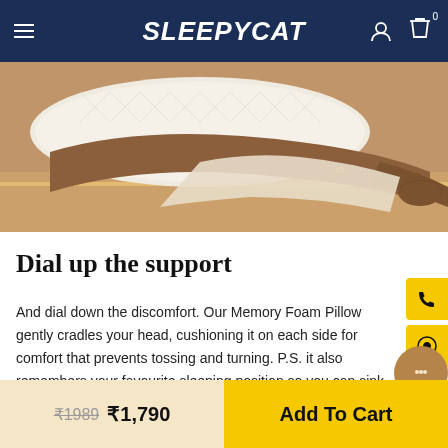SleepyCat
[Figure (photo): Person lying on a bed hugging a white quilted memory foam pillow, showing the pillow's texture and ergonomic shape]
Dial up the support
And dial down the discomfort. Our Memory Foam Pillow gently cradles your head, cushioning it on each side for comfort that prevents tossing and turning. P.S. it also remembers your favourite sleeping position so you can sink your head right back in and get comfy without a thought.
₹1989  ₹1,790  Add To Cart